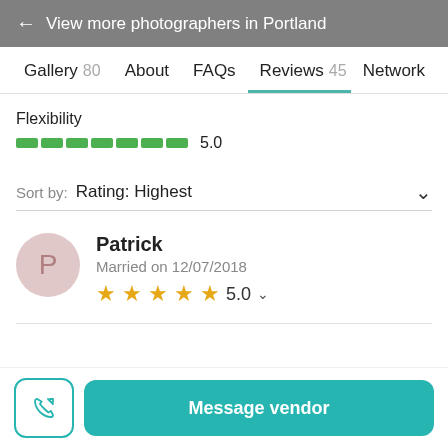← View more photographers in Portland
Gallery 80   About   FAQs   Reviews 45   Network
Flexibility
[Figure (other): Green segmented rating bar showing 5.0]
Sort by: Rating: Highest
Patrick
Married on 12/07/2018
★★★★★ 5.0
Message vendor